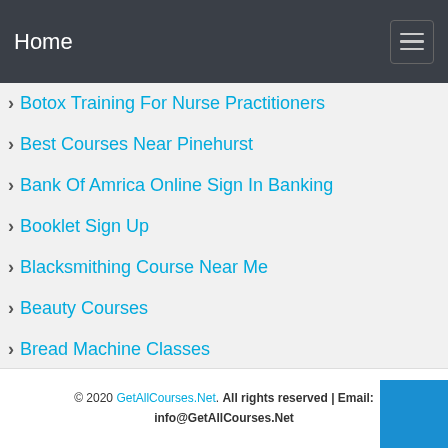Home
Botox Training For Nurse Practitioners
Best Courses Near Pinehurst
Bank Of Amrica Online Sign In Banking
Booklet Sign Up
Blacksmithing Course Near Me
Beauty Courses
Bread Machine Classes
© 2020 GetAllCourses.Net. All rights reserved | Email: info@GetAllCourses.Net